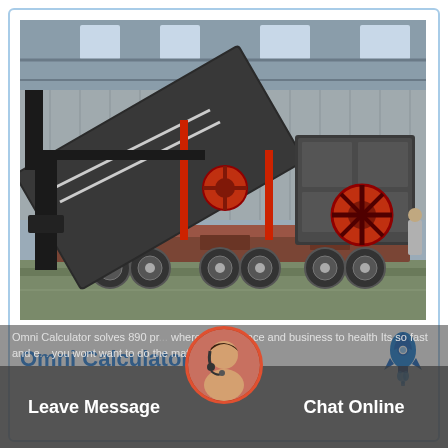[Figure (photo): Industrial mobile crusher/screening plant on a semi-trailer truck inside a large factory warehouse. The machine has red flywheels, black conveyor belt, and is mounted on a heavy multi-axle trailer. Steel structure building in background.]
Omni Calculator
[Figure (illustration): Blue rocket emoji/icon]
Omni Calculator solves 890 pr... where from finance and business to health Its so fast and e... you wont want to do the math
Leave Message
Chat Online